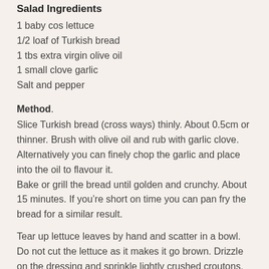Salad Ingredients
1 baby cos lettuce
1/2 loaf of Turkish bread
1 tbs extra virgin olive oil
1 small clove garlic
Salt and pepper
Method.
Slice Turkish bread (cross ways) thinly. About 0.5cm or thinner. Brush with olive oil and rub with garlic clove. Alternatively you can finely chop the garlic and place into the oil to flavour it.
Bake or grill the bread until golden and crunchy. About 15 minutes. If you’re short on time you can pan fry the bread for a similar result.
Tear up lettuce leaves by hand and scatter in a bowl. Do not cut the lettuce as it makes it go brown. Drizzle on the dressing and sprinkle lightly crushed croutons. Serve chilled.